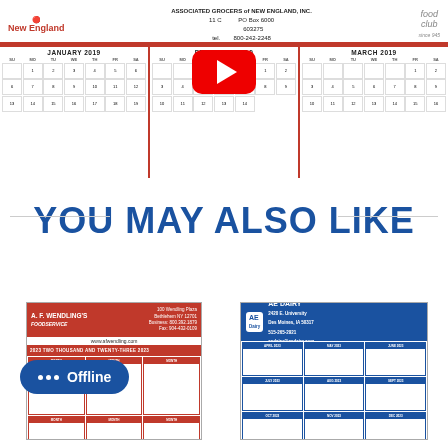[Figure (screenshot): Associated Grocers of New England calendar with YouTube play button overlay, showing January 2019, February 2019, and March 2019 monthly calendars with red header bar and Food Club logo]
YOU MAY ALSO LIKE
[Figure (screenshot): A.F. Wendling's Foodservice promotional wall calendar with red border, business address header, and multiple monthly calendar grids]
[Figure (screenshot): AE Dairy promotional wall calendar with blue border and header, business address, and multiple monthly calendar grids]
[Figure (other): Offline chat badge with three dots and text 'Offline']